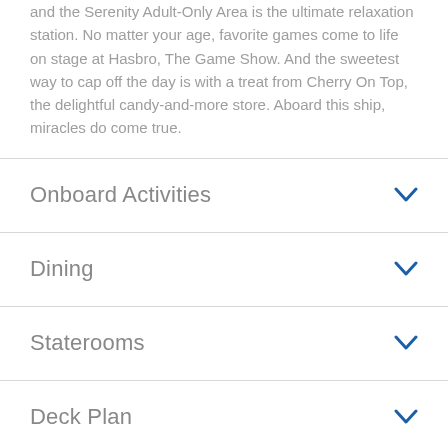and the Serenity Adult-Only Area is the ultimate relaxation station. No matter your age, favorite games come to life on stage at Hasbro, The Game Show. And the sweetest way to cap off the day is with a treat from Cherry On Top, the delightful candy-and-more store. Aboard this ship, miracles do come true.
Onboard Activities
Dining
Staterooms
Deck Plan
Ship Facts